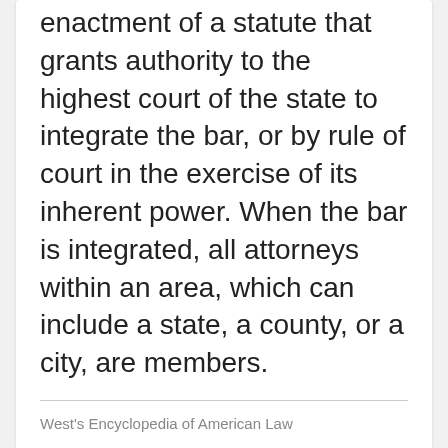enactment of a statute that grants authority to the highest court of the state to integrate the bar, or by rule of court in the exercise of its inherent power. When the bar is integrated, all attorneys within an area, which can include a state, a county, or a city, are members.
West's Encyclopedia of American Law
More From encyclopedia.com
[Figure (photo): Dark thumbnail image, left side]
[Figure (photo): Light gray thumbnail image with vertical light structures, right side]